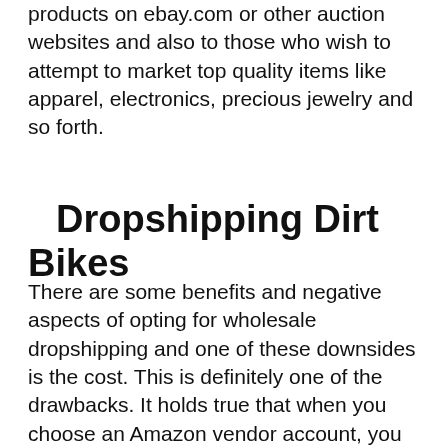products on ebay.com or other auction websites and also to those who wish to attempt to market top quality items like apparel, electronics, precious jewelry and so forth.
Dropshipping Dirt Bikes
There are some benefits and negative aspects of opting for wholesale dropshipping and one of these downsides is the cost. This is definitely one of the drawbacks. It holds true that when you choose an Amazon vendor account, you will certainly pay lower fees. When you are functioning with a single system pricing system, the price per unit goes down considerably. Is this sufficient to make your ecommerce organization job and